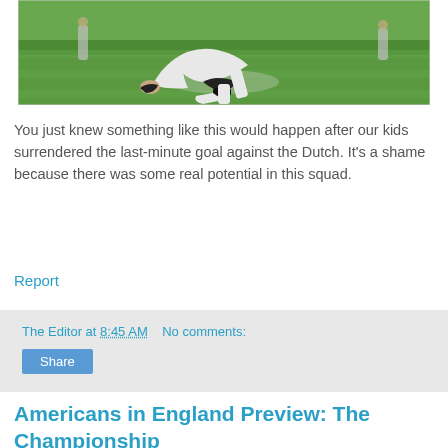[Figure (photo): Soccer player kneeling head down on green grass field in white jersey, other players visible in background]
You just knew something like this would happen after our kids surrendered the last-minute goal against the Dutch. It's a shame because there was some real potential in this squad.
Report
The Editor at 8:45 AM   No comments:
Share
Americans in England Preview: The Championship